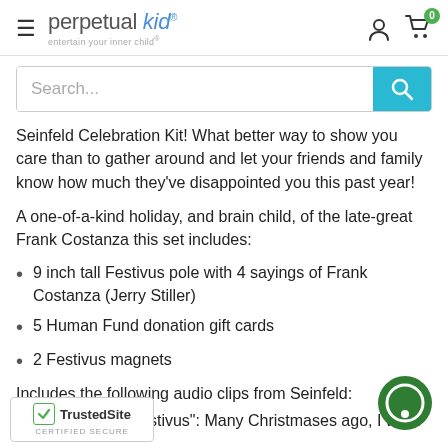perpetual kid — entertain your inner child
Search...
Seinfeld Celebration Kit! What better way to show you care than to gather around and let your friends and family know how much they've disappointed you this past year!
A one-of-a-kind holiday, and brain child, of the late-great Frank Costanza this set includes:
9 inch tall Festivus pole with 4 sayings of Frank Costanza (Jerry Stiller)
5 Human Fund donation gift cards
2 Festivus magnets
Includes the following audio clips from Seinfeld:
[Figure (logo): TrustedSite CERTIFIED SECURE badge with green checkmark]
"The Story of Festivus": Many Christmases ago, I went...